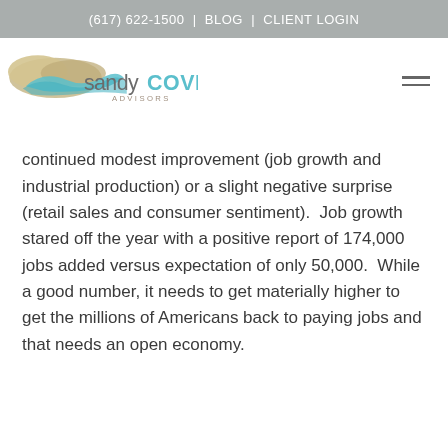(617) 622-1500 | BLOG | CLIENT LOGIN
[Figure (logo): Sandy Cove Advisors logo with sandy dunes and teal wave graphic, text 'sandyCOVE ADVISORS']
continued modest improvement (job growth and industrial production) or a slight negative surprise (retail sales and consumer sentiment).  Job growth stared off the year with a positive report of 174,000 jobs added versus expectation of only 50,000.  While a good number, it needs to get materially higher to get the millions of Americans back to paying jobs and that needs an open economy.